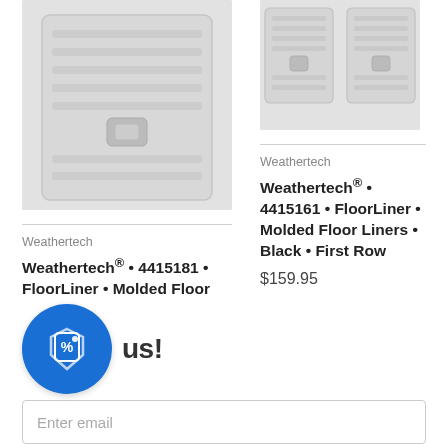[Figure (photo): Product photo of Weathertech FloorLiner floor mat, left product, gray/light colored mat]
[Figure (photo): Product photo of Weathertech FloorLiner floor mats, right product, gray/light colored mats pair]
Weathertech
Weathertech
Weathertech® • 4415181 • FloorLiner • Molded Floor Liners • Black • First Row
Weathertech® • 4415161 • FloorLiner • Molded Floor Liners • Black • First Row
$159.95
$159.95
[Figure (logo): Blue circular discount/coupon icon with a price tag and percent symbol]
us!
Enter email